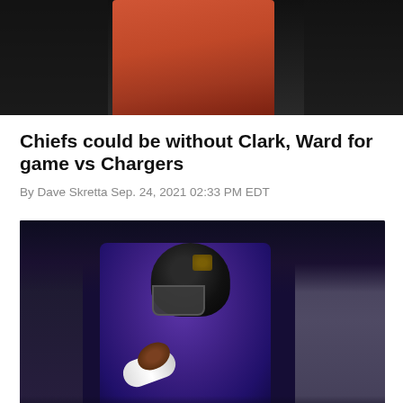[Figure (photo): Top cropped photo of a person wearing a red shirt, dark background, stadium setting]
Chiefs could be without Clark, Ward for game vs Chargers
By Dave Skretta Sep. 24, 2021 02:33 PM EDT
[Figure (photo): Football player in purple Baltimore Ravens uniform and black helmet carrying the ball, stadium crowd in background]